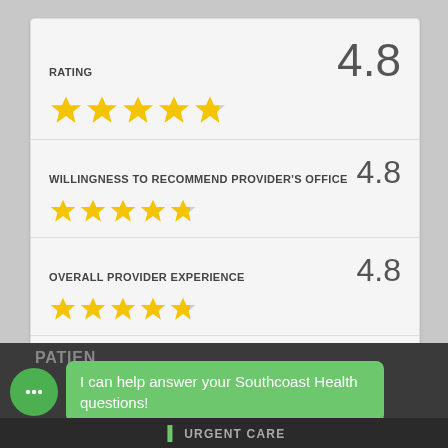RATING
[Figure (infographic): 4.8 out of 5 stars rating with 4 full gold stars and 1 partial star for RATING category]
WILLINGNESS TO RECOMMEND PROVIDER'S OFFICE
[Figure (infographic): 4.8 out of 5 stars rating with 4 full gold stars and 1 partial star for WILLINGNESS TO RECOMMEND PROVIDER'S OFFICE]
OVERALL PROVIDER EXPERIENCE
[Figure (infographic): 4.8 out of 5 stars rating with 4 full gold stars and 1 partial star for OVERALL PROVIDER EXPERIENCE]
COURTESY AND RESPECT OF STAFF
[Figure (infographic): 5 out of 5 stars rating with 5 full gold stars for COURTESY AND RESPECT OF STAFF]
PATIEN
I can help answer your Southcoast Health questions!
URGENT CARE